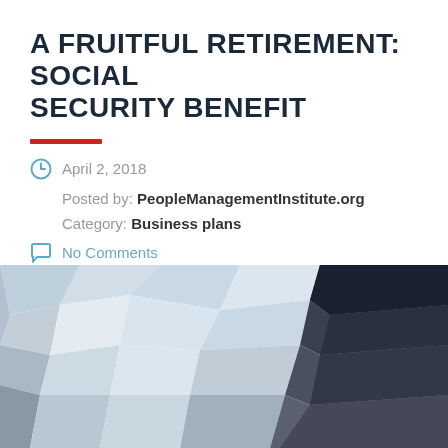A FRUITFUL RETIREMENT: SOCIAL SECURITY BENEFIT
April 2, 2018
Posted by: PeopleManagementInstitute.org
Category: Business plans
No Comments
[Figure (illustration): Abstract low-poly geometric mosaic image with blue, grey, white, and dark polygon shapes]